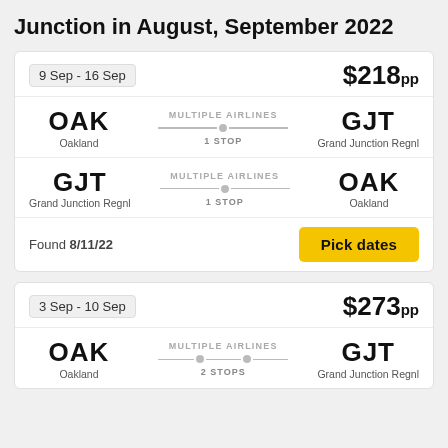Junction in August, September 2022
9 Sep - 16 Sep  $218pp
OAK Oakland — MULTIPLE AIRLINES — 1 STOP — GJT Grand Junction Regnl
GJT Grand Junction Regnl — MULTIPLE AIRLINES — 1 STOP — OAK Oakland
Found 8/11/22
Pick dates
3 Sep - 10 Sep  $273pp
OAK Oakland — MULTIPLE AIRLINES — 2 STOPS — GJT Grand Junction Regnl